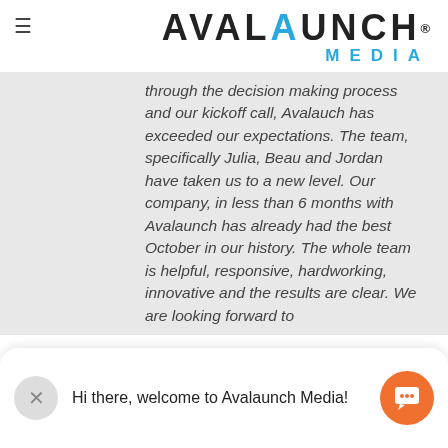[Figure (logo): Avalaunch Media logo with hamburger menu icon on left. Logo text reads AVALAUNCH in dark with a blue A in LAUNCH, and MEDIA in blue below.]
through the decision making process and our kickoff call, Avalauch has exceeded our expectations. The team, specifically Julia, Beau and Jordan have taken us to a new level. Our company, in less than 6 months with Avalaunch has already had the best October in our history. The whole team is helpful, responsive, hardworking, innovative and the results are clear. We are looking forward to
Hi there, welcome to Avalaunch Media!